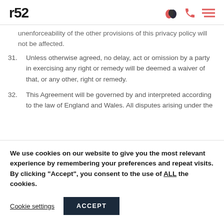r52
unenforceability of the other provisions of this privacy policy will not be affected.
31. Unless otherwise agreed, no delay, act or omission by a party in exercising any right or remedy will be deemed a waiver of that, or any other, right or remedy.
32. This Agreement will be governed by and interpreted according to the law of England and Wales. All disputes arising under the
We use cookies on our website to give you the most relevant experience by remembering your preferences and repeat visits. By clicking “Accept”, you consent to the use of ALL the cookies.
Cookie settings  ACCEPT